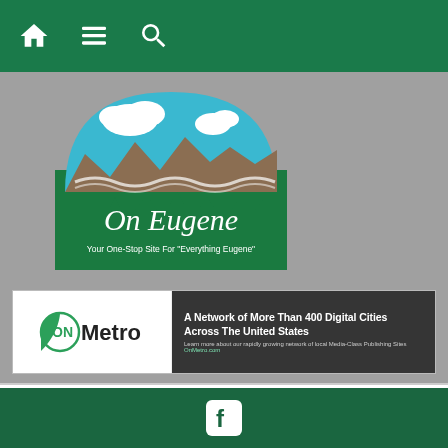[Figure (screenshot): Green navigation bar with home icon, hamburger menu icon, and search icon in white]
[Figure (logo): On Eugene logo - semicircular design with city skyline, mountains, and sky. Text reads 'On Eugene' in script font and 'Your One-Stop Site For Everything Eugene' below]
[Figure (logo): ONMetro banner ad: ONMetro logo on white left panel, dark right panel with text 'A Network of More Than 400 Digital Cities Across The United States. Learn more about our rapidly growing network of local Media-Class Publishing Sites OnMetro.com']
Home » Video Shows » Cooking Thyme With Tristan » Cooking Thyme With Tristan: TT's Chicken Enchilada Soup
[Figure (logo): Facebook icon (white f on rounded square) centered on dark green footer bar]